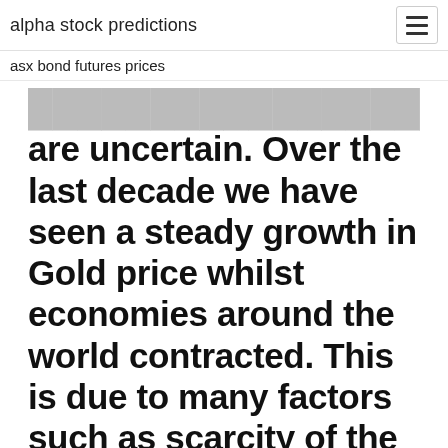alpha stock predictions
asx bond futures prices
are uncertain. Over the last decade we have seen a steady growth in Gold price whilst economies around the world contracted. This is due to many factors such as scarcity of the metal and exchange rates. Gold can be accessed in many different ways for trading